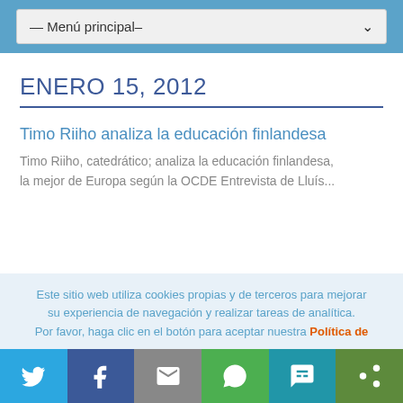— Menú principal–
ENERO 15, 2012
Timo Riiho analiza la educación finlandesa
Timo Riiho, catedrático; analiza la educación finlandesa, la mejor de Europa según la OCDE Entrevista de Lluís...
Este sitio web utiliza cookies propias y de terceros para mejorar su experiencia de navegación y realizar tareas de analítica. Por favor, haga clic en el botón para aceptar nuestra Política de